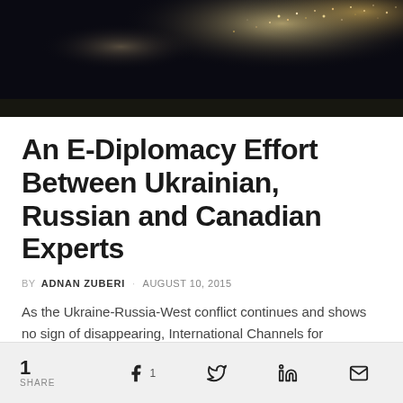[Figure (photo): Aerial night satellite view of Earth showing city lights, dark background with glowing urban areas]
An E-Diplomacy Effort Between Ukrainian, Russian and Canadian Experts
BY ADNAN ZUBERI · AUGUST 10, 2015
As the Ukraine-Russia-West conflict continues and shows no sign of disappearing, International Channels for Diplomacy organized its third...
1 SHARE  [Facebook] 1  [Twitter]  [LinkedIn]  [Email]